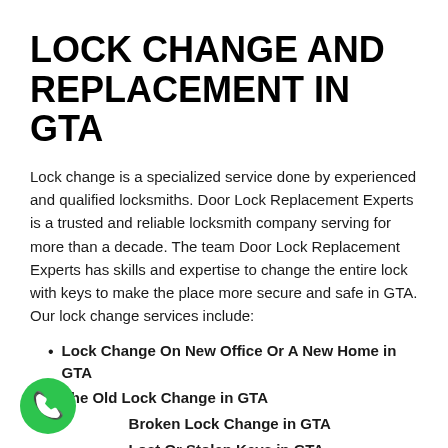LOCK CHANGE AND REPLACEMENT IN GTA
Lock change is a specialized service done by experienced and qualified locksmiths. Door Lock Replacement Experts is a trusted and reliable locksmith company serving for more than a decade. The team Door Lock Replacement Experts has skills and expertise to change the entire lock with keys to make the place more secure and safe in GTA. Our lock change services include:
Lock Change On New Office Or A New Home in GTA
The Old Lock Change in GTA
Broken Lock Change in GTA
Lost Or Stolen Keys in GTA
[Figure (illustration): Green circular phone/call button icon with white telephone handset symbol]